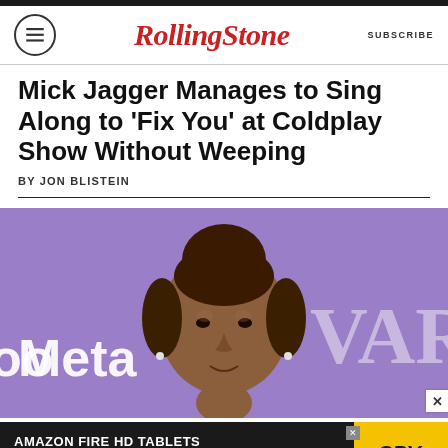Rolling Stone | SUBSCRIBE
Mick Jagger Manages to Sing Along to ‘Fix You’ at Coldplay Show Without Weeping
BY JON BLISTEIN
[Figure (photo): A young Black woman with curly hair styled up, standing in front of a purple background with 'Meta' and 'Variety' branding logos.]
AMAZON FIRE HD TABLETS JUST $45 RIGHT NOW